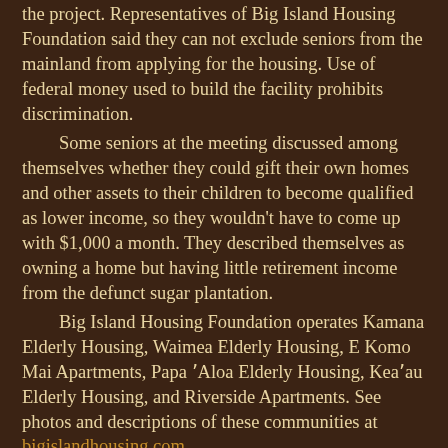the project. Representatives of Big Island Housing Foundation said they can not exclude seniors from the mainland from applying for the housing. Use of federal money used to build the facility prohibits discrimination.
	Some seniors at the meeting discussed among themselves whether they could gift their own homes and other assets to their children to become qualified as lower income, so they wouldn't have to come up with $1,000 a month. They described themselves as owning a home but having little retirement income from the defunct sugar plantation.
	Big Island Housing Foundation operates Kamana Elderly Housing, Waimea Elderly Housing, E Komo Mai Apartments, Papa 'Aloa Elderly Housing, Kea'au Elderly Housing, and Riverside Apartments. See photos and descriptions of these communities at bigislandhousing.com.
	To donate to the cause and for more information, call Kawachi at 937-4773.
To read comments, add your own, and like this story, see Facebook. Follow us on Instagram and Twitter. See our online calendars and our latest print edition